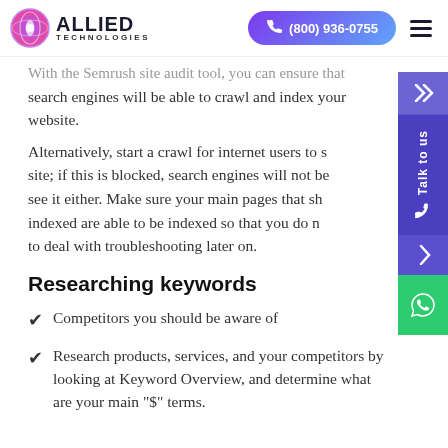Allied Technologies | (800) 936-0755
With the Semrush site audit tool, you can ensure that search engines will be able to crawl and index your website.
Alternatively, start a crawl for internet users to see your site; if this is blocked, search engines will not be able to see it either. Make sure your main pages that should be indexed are able to be indexed so that you do not have to deal with troubleshooting later on.
Researching keywords
Competitors you should be aware of
Research products, services, and your competitors by looking at Keyword Overview, and determine what are your main "$" terms.